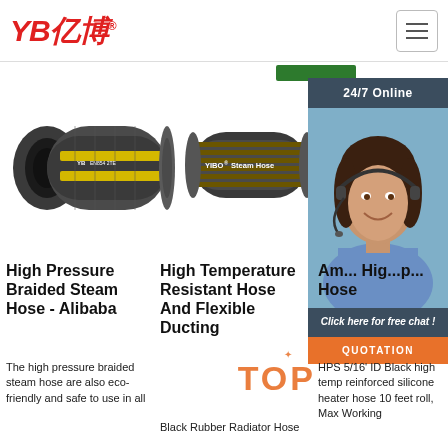YB亿博 logo and navigation header
[Figure (photo): High pressure braided steam hose product image - black hose with yellow stripe]
[Figure (photo): YIBO Steam Hose product image - black braided hose]
[Figure (photo): 24/7 Online customer service agent - woman with headset smiling]
High Pressure Braided Steam Hose - Alibaba
The high pressure braided steam hose are also eco-friendly and safe to use in all
High Temperature Resistant Hose And Flexible Ducting
Black Rubber Radiator Hose
Am... Hig... p... Hose
HPS 5/16' ID Black high temp reinforced silicone heater hose 10 feet roll, Max Working